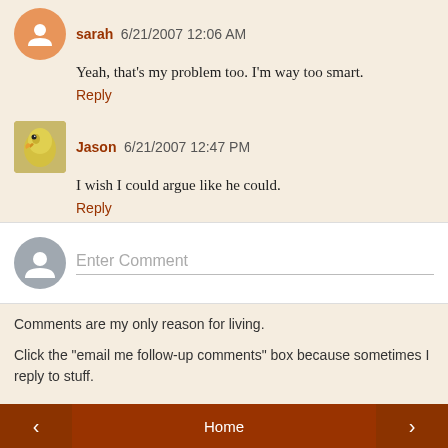sarah 6/21/2007 12:06 AM
Yeah, that's my problem too. I'm way too smart.
Reply
Jason 6/21/2007 12:47 PM
I wish I could argue like he could.
Reply
Enter Comment
Comments are my only reason for living.
Click the "email me follow-up comments" box because sometimes I reply to stuff.
Home